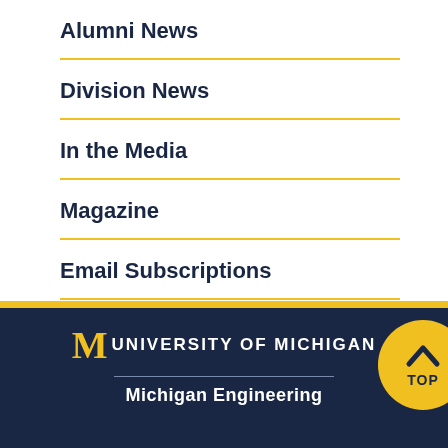Alumni News
Division News
In the Media
Magazine
Email Subscriptions
[Figure (illustration): Gold circular TOP button with upward chevron arrow in navy blue]
University of Michigan — Michigan Engineering